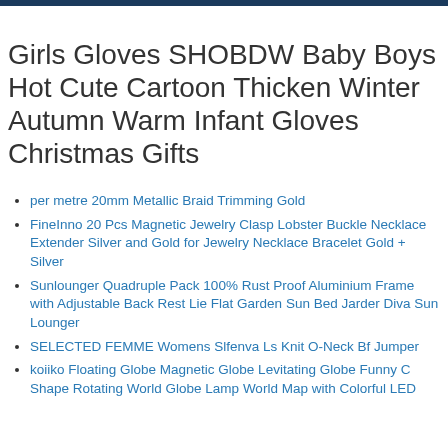Girls Gloves SHOBDW Baby Boys Hot Cute Cartoon Thicken Winter Autumn Warm Infant Gloves Christmas Gifts
per metre 20mm Metallic Braid Trimming Gold
FineInno 20 Pcs Magnetic Jewelry Clasp Lobster Buckle Necklace Extender Silver and Gold for Jewelry Necklace Bracelet Gold + Silver
Sunlounger Quadruple Pack 100% Rust Proof Aluminium Frame with Adjustable Back Rest Lie Flat Garden Sun Bed Jarder Diva Sun Lounger
SELECTED FEMME Womens Slfenva Ls Knit O-Neck Bf Jumper
koiiko Floating Globe Magnetic Globe Levitating Globe Funny C Shape Rotating World Globe Lamp World Map with Colorful LED